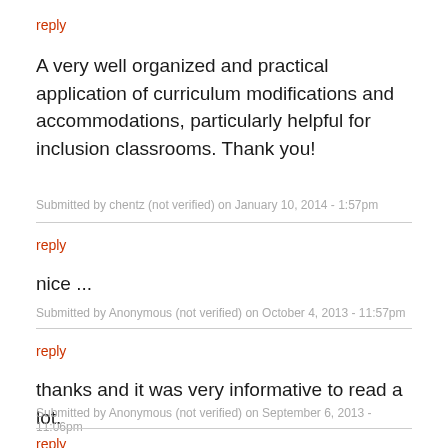reply
A very well organized and practical application of curriculum modifications and accommodations, particularly helpful for inclusion classrooms. Thank you!
Submitted by chentz (not verified) on January 10, 2014 - 1:57pm
reply
nice ...
Submitted by Anonymous (not verified) on October 4, 2013 - 11:57pm
reply
thanks and it was very informative to read a lot.
Submitted by Anonymous (not verified) on September 6, 2013 - 11:06pm
reply